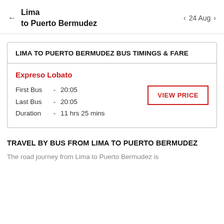← Lima to Puerto Bermudez   < 24 Aug >
LIMA TO PUERTO BERMUDEZ BUS TIMINGS & FARE
| Expreso Lobato |  | VIEW PRICE |
| First Bus - | 20:05 |  |
| Last Bus - | 20:05 |  |
| Duration - | 11 hrs 25 mins |  |
TRAVEL BY BUS FROM LIMA TO PUERTO BERMUDEZ
The road journey from Lima to Puerto Bermudez is